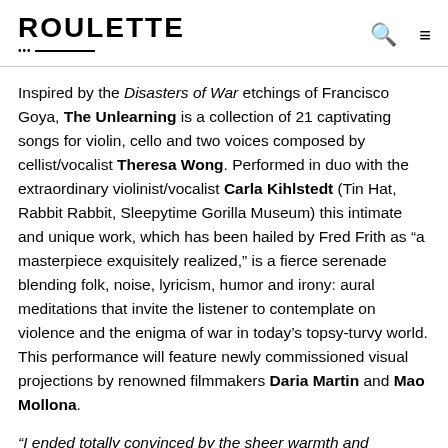ROULETTE
Inspired by the Disasters of War etchings of Francisco Goya, The Unlearning is a collection of 21 captivating songs for violin, cello and two voices composed by cellist/vocalist Theresa Wong. Performed in duo with the extraordinary violinist/vocalist Carla Kihlstedt (Tin Hat, Rabbit Rabbit, Sleepytime Gorilla Museum) this intimate and unique work, which has been hailed by Fred Frith as “a masterpiece exquisitely realized,” is a fierce serenade blending folk, noise, lyricism, humor and irony: aural meditations that invite the listener to contemplate on violence and the enigma of war in today’s topsy-turvy world. This performance will feature newly commissioned visual projections by renowned filmmakers Daria Martin and Mao Mollona.
“I ended totally convinced by the sheer warmth and